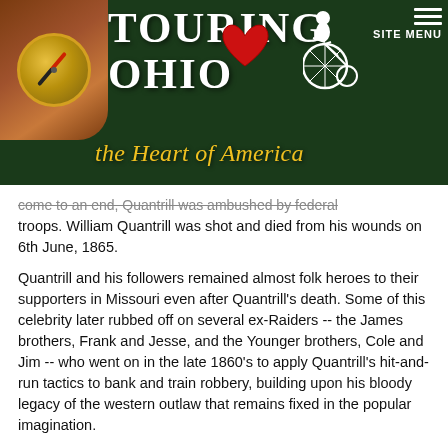[Figure (logo): Touring Ohio website header banner with dark green background, compass image on the left, silhouette of cyclist on penny-farthing bicycle, red heart, site menu hamburger icon top right, and tagline 'the Heart of America' in gold italic script.]
come to an end, Quantrill was ambushed by federal troops. William Quantrill was shot and died from his wounds on 6th June, 1865.
Quantrill and his followers remained almost folk heroes to their supporters in Missouri even after Quantrill's death. Some of this celebrity later rubbed off on several ex-Raiders -- the James brothers, Frank and Jesse, and the Younger brothers, Cole and Jim -- who went on in the late 1860's to apply Quantrill's hit-and-run tactics to bank and train robbery, building upon his bloody legacy of the western outlaw that remains fixed in the popular imagination.
William Quantrill's Bizarre Burial